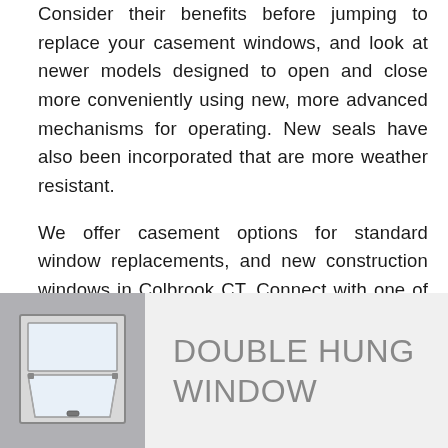Consider their benefits before jumping to replace your casement windows, and look at newer models designed to open and close more conveniently using new, more advanced mechanisms for operating. New seals have also been incorporated that are more weather resistant.
We offer casement options for standard window replacements, and new construction windows in Colbrook CT. Connect with one of our experts today and see the many options we offer perfect for projects' needs.
[Figure (photo): A double hung window shown open at an angle, displayed against a gray background]
DOUBLE HUNG WINDOW